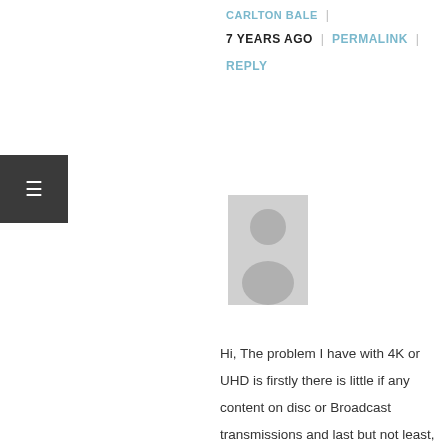CARLTON BALE
7 YEARS AGO | PERMALINK
REPLY
[Figure (illustration): Generic user avatar placeholder - grey silhouette of a person on light grey background]
Hi, The problem I have with 4K or UHD is firstly there is little if any content on disc or Broadcast transmissions and last but not least, if 4K is to be transmitted via cable and stream to homes, they would require cables capable of being able to transmit 100 Terabits or 250 Bluray disc movies data